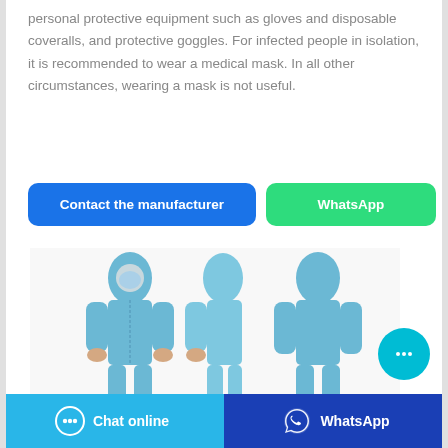personal protective equipment such as gloves and disposable coveralls, and protective goggles. For infected people in isolation, it is recommended to wear a medical mask. In all other circumstances, wearing a mask is not useful.
[Figure (illustration): Three views of a person wearing a blue disposable protective coverall suit with hood and mask — front, side, and back views.]
Chat online
WhatsApp